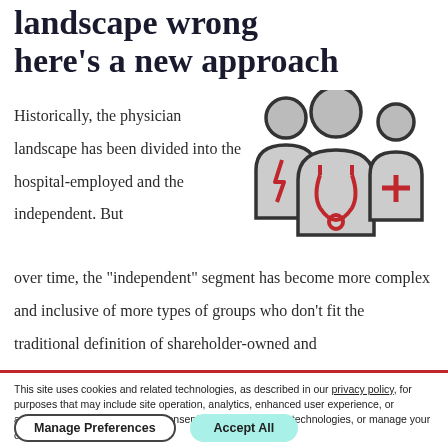landscape wrong here's a new approach
Historically, the physician landscape has been divided into the hospital-employed and the independent. But over time, the "independent" segment has become more complex and inclusive of more types of groups who don't fit the traditional definition of shareholder-owned and
[Figure (illustration): Icon illustration of three medical professionals (doctors/physicians) with stethoscope, rendered in dark gray and red line style]
This site uses cookies and related technologies, as described in our privacy policy, for purposes that may include site operation, analytics, enhanced user experience, or advertising. You may choose to consent to our use of these technologies, or manage your own preferences.